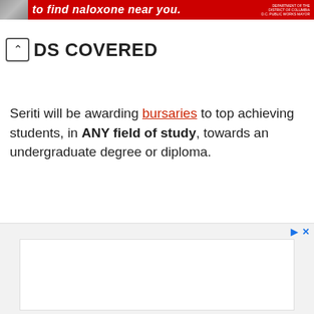[Figure (other): Red banner advertisement for naloxone with text 'to find naloxone near you.' and a government logo on the right side.]
DS COVERED
Seriti will be awarding bursaries to top achieving students, in ANY field of study, towards an undergraduate degree or diploma.
[Figure (other): Advertisement placeholder area with light gray background and a white inner content box.]